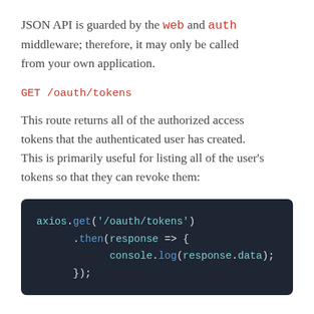JSON API is guarded by the web and auth middleware; therefore, it may only be called from your own application.
GET /oauth/tokens
This route returns all of the authorized access tokens that the authenticated user has created. This is primarily useful for listing all of the user's tokens so that they can revoke them:
[Figure (screenshot): Dark-themed code block showing JavaScript: axios.get('/oauth/tokens').then(response => { console.log(response.data); });]